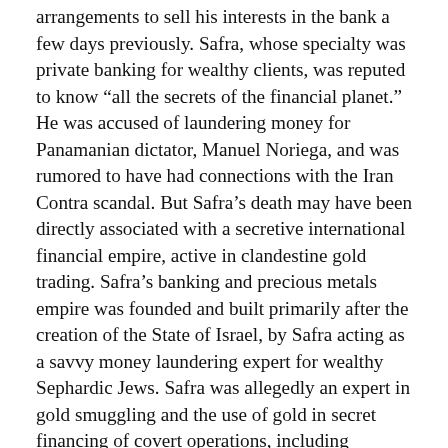arrangements to sell his interests in the bank a few days previously. Safra, whose specialty was private banking for wealthy clients, was reputed to know “all the secrets of the financial planet.” He was accused of laundering money for Panamanian dictator, Manuel Noriega, and was rumored to have had connections with the Iran Contra scandal. But Safra’s death may have been directly associated with a secretive international financial empire, active in clandestine gold trading. Safra’s banking and precious metals empire was founded and built primarily after the creation of the State of Israel, by Safra acting as a savvy money laundering expert for wealthy Sephardic Jews. Safra was allegedly an expert in gold smuggling and the use of gold in secret financing of covert operations, including assassinations, by intelligence agencies such as the CIA.
5	J. Clifford Baxter – January, 2002 A former top executive of scandal plagued Enron, Baxter was